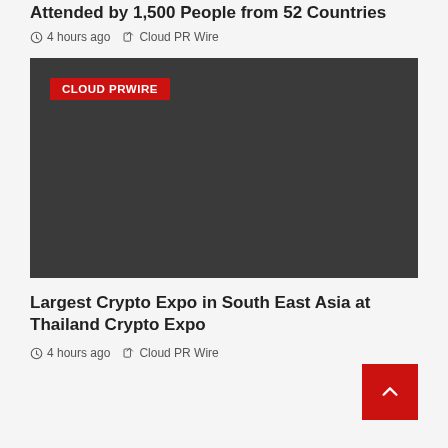Attended by 1,500 People from 52 Countries
4 hours ago   Cloud PR Wire
[Figure (photo): Dark gray placeholder image with CLOUD PRWIRE red badge label in upper left corner]
Largest Crypto Expo in South East Asia at Thailand Crypto Expo
4 hours ago   Cloud PR Wire